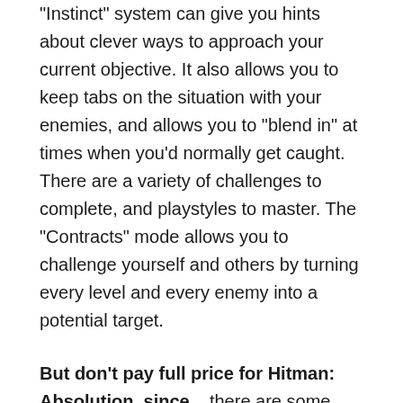"Instinct" system can give you hints about clever ways to approach your current objective. It also allows you to keep tabs on the situation with your enemies, and allows you to "blend in" at times when you'd normally get caught. There are a variety of challenges to complete, and playstyles to master. The "Contracts" mode allows you to challenge yourself and others by turning every level and every enemy into a potential target.
But don't pay full price for Hitman: Absolution, since... there are some weird, tasteless, and downright creepy parts of the game. There are more fake breasts on display than a plastic surgeon's office. The major antagonists seem to like to sling around homophobic slurs, and the overall portrayal of